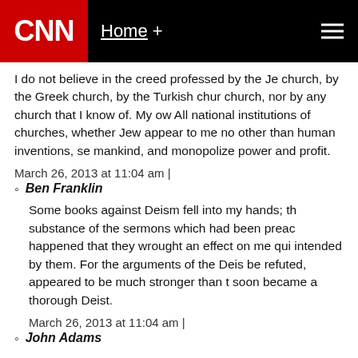CNN Home +
I do not believe in the creed professed by the Je church, by the Greek church, by the Turkish chur church, nor by any church that I know of. My ow All national institutions of churches, whether Jew appear to me no other than human inventions, se mankind, and monopolize power and profit.
March 26, 2013 at 11:04 am |
Ben Franklin
Some books against Deism fell into my hands; th substance of the sermons which had been preac happened that they wrought an effect on me qui intended by them. For the arguments of the Deis be refuted, appeared to be much stronger than t soon became a thorough Deist.
March 26, 2013 at 11:04 am |
John Adams